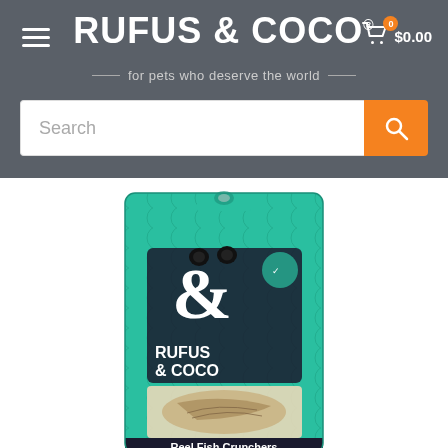RUFUS & COCO® — for pets who deserve the world — [Search] [$0.00 cart]
[Figure (photo): A green Rufus & Coco branded pet treat bag labeled 'Reel Fish Crunchers' with fish scale pattern and a window showing the product inside]